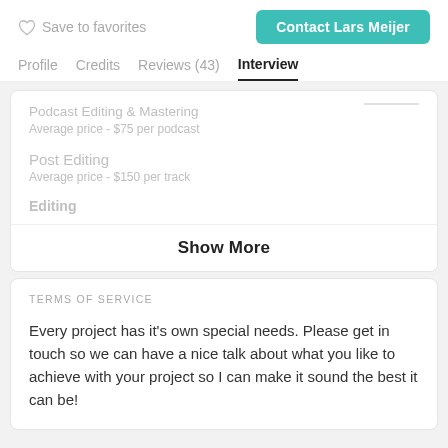Save to favorites
Contact Lars Meijer
Profile
Credits
Reviews (43)
Interview
Podcast Editing & Mastering
Average price - $75 per podcast
Post Editing
Average price - $150 per track
Editing
Show More
TERMS OF SERVICE
Every project has it's own special needs. Please get in touch so we can have a nice talk about what you like to achieve with your project so I can make it sound the best it can be!